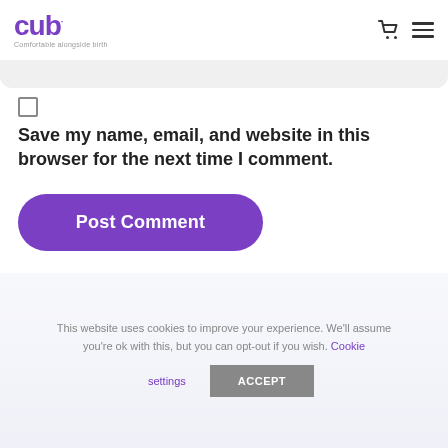cub — Comfortable alongside birth
Save my name, email, and website in this browser for the next time I comment.
Post Comment
This website uses cookies to improve your experience. We'll assume you're ok with this, but you can opt-out if you wish. Cookie settings ACCEPT